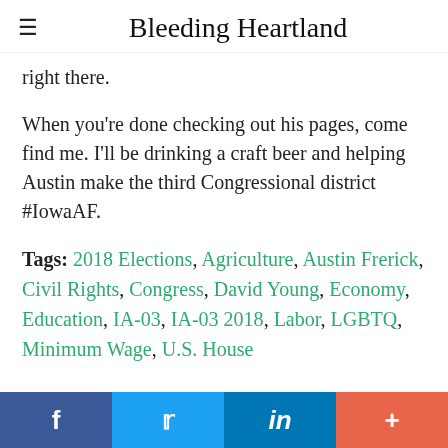Bleeding Heartland
right there.
When you're done checking out his pages, come find me. I'll be drinking a craft beer and helping Austin make the third Congressional district #IowaAF.
Tags: 2018 Elections, Agriculture, Austin Frerick, Civil Rights, Congress, David Young, Economy, Education, IA-03, IA-03 2018, Labor, LGBTQ, Minimum Wage, U.S. House